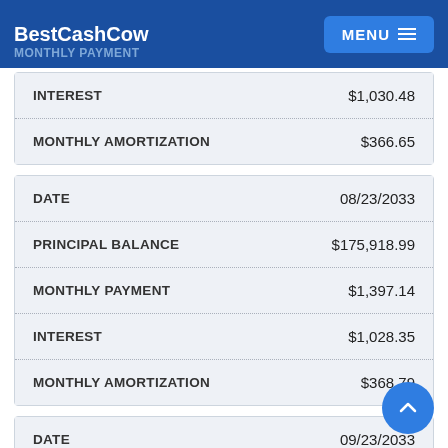BestCashCow | MENU
MONTHLY PAYMENT
| Label | Value |
| --- | --- |
| INTEREST | $1,030.48 |
| MONTHLY AMORTIZATION | $366.65 |
| Label | Value |
| --- | --- |
| DATE | 08/23/2033 |
| PRINCIPAL BALANCE | $175,918.99 |
| MONTHLY PAYMENT | $1,397.14 |
| INTEREST | $1,028.35 |
| MONTHLY AMORTIZATION | $368.79 |
| Label | Value |
| --- | --- |
| DATE | 09/23/2033 |
| PRINCIPAL BALANCE | $175,548.05 |